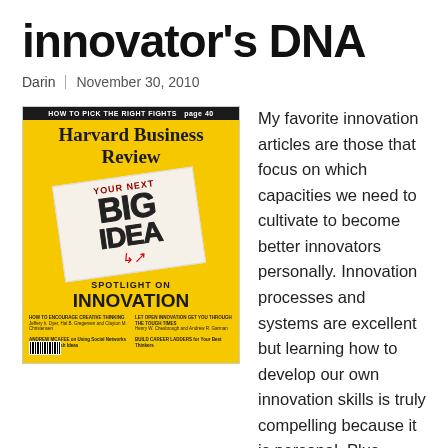innovator's DNA
Darin | November 30, 2010
[Figure (photo): Harvard Business Review magazine cover featuring 'YOUR NEXT BIG IDEA' written on a napkin, with 'SPOTLIGHT ON INNOVATION' text at the bottom on a yellow background.]
My favorite innovation articles are those that focus on which capacities we need to cultivate to become better innovators personally. Innovation processes and systems are excellent but learning how to develop our own innovation skills is truly compelling because it is personal. Plus, much of the innovation chatter in organizations now is shifting from adopting processes and systems to nurturing innovation soft skills in all